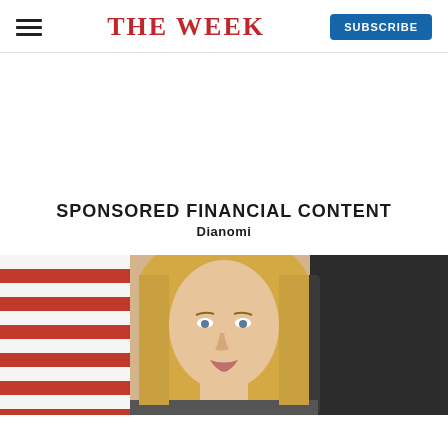THE WEEK
SPONSORED FINANCIAL CONTENT
Dianomi
[Figure (photo): A blonde woman sitting in front of an American flag and a dark leather chair, appearing to be in a formal or official setting.]